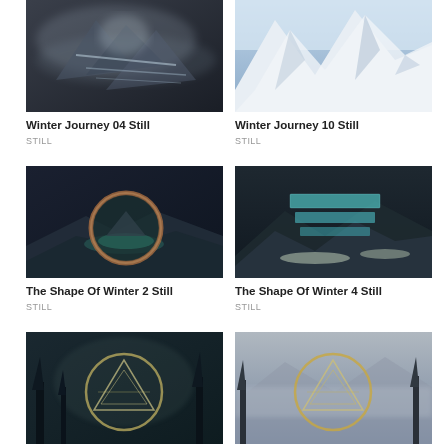[Figure (photo): Dark moody abstract winter scene with ice/snow formations and geometric light streaks]
Winter Journey 04 Still
STILL
[Figure (photo): Aerial view of snow-capped mountain peaks from above]
Winter Journey 10 Still
STILL
[Figure (photo): Dark surreal landscape with a large circular ring/portal over wintry mountains]
The Shape Of Winter 2 Still
STILL
[Figure (photo): Dark dramatic landscape with teal rectangular light bars floating over snowy terrain]
The Shape Of Winter 4 Still
STILL
[Figure (photo): Misty forest with geometric circle and triangle overlay design]
[Figure (photo): Grey winter scene with geometric circle and triangle overlay design]